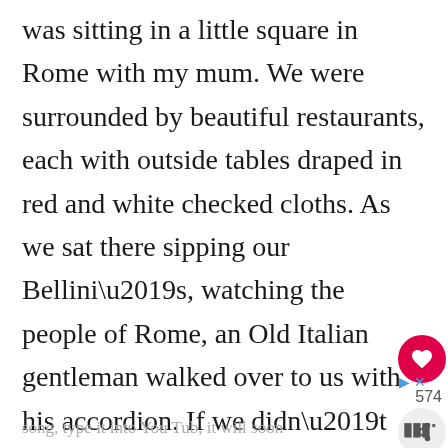was sitting in a little square in Rome with my mum. We were surrounded by beautiful restaurants, each with outside tables draped in red and white checked cloths. As we sat there sipping our Bellini’s, watching the people of Rome, an Old Italian gentleman walked over to us with his accordion. If we didn’t alrea feel as though we were in a movie, we were sure about to. He began to play, ‘That’s Amore’. (If you don’t know this song, type it into You Tub, it will soon